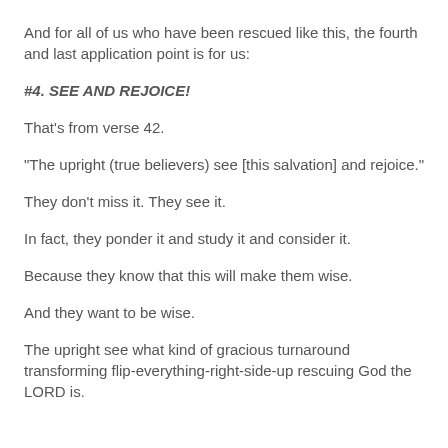And for all of us who have been rescued like this, the fourth and last application point is for us:
#4. SEE AND REJOICE!
That's from verse 42.
“The upright (true believers) see [this salvation] and rejoice.”
They don’t miss it. They see it.
In fact, they ponder it and study it and consider it.
Because they know that this will make them wise.
And they want to be wise.
The upright see what kind of gracious turnaround transforming flip-everything-right-side-up rescuing God the LORD is.